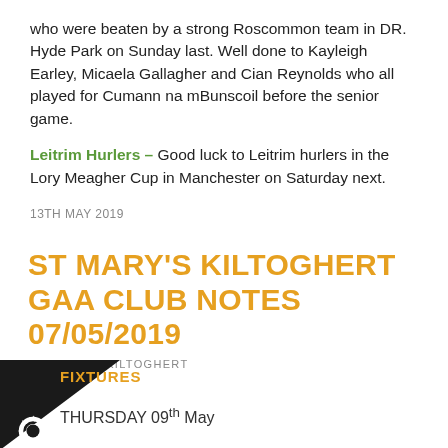who were beaten by a strong Roscommon team in DR. Hyde Park on Sunday last. Well done to Kayleigh Earley, Micaela Gallagher and Cian Reynolds who all played for Cumann na mBunscoil before the senior game.
Leitrim Hurlers – Good luck to Leitrim hurlers in the Lory Meagher Cup in Manchester on Saturday next.
13TH MAY 2019
ST MARY'S KILTOGHERT GAA CLUB NOTES 07/05/2019
ST. MARY'S-KILTOGHERT
FIXTURES
THURSDAY 09th May